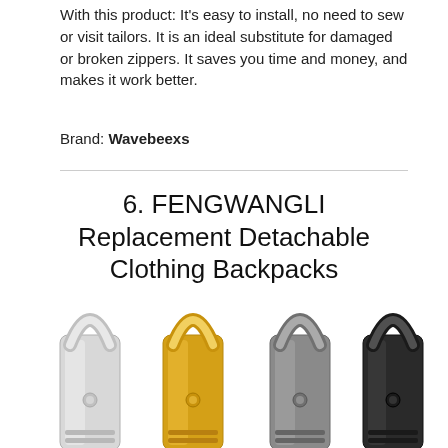With this product: It's easy to install, no need to sew or visit tailors. It is an ideal substitute for damaged or broken zippers. It saves you time and money, and makes it work better.
Brand: Wavebeexs
6. FENGWANGLI Replacement Detachable Clothing Backpacks
[Figure (photo): Four zipper pull replacements in silver, gold, gunmetal/grey, and black colors, shown side by side]